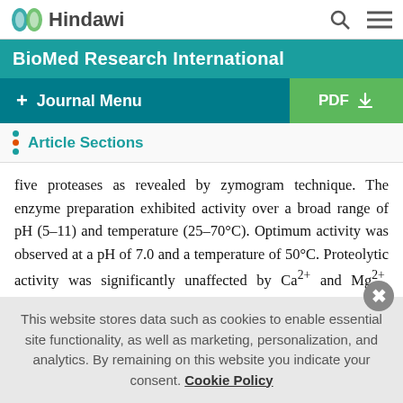Hindawi — BioMed Research International
Article Sections
five proteases as revealed by zymogram technique. The enzyme preparation exhibited activity over a broad range of pH (5–11) and temperature (25–70°C). Optimum activity was observed at a pH of 7.0 and a temperature of 50°C. Proteolytic activity was significantly unaffected by Ca2+ and Mg2+. EDTA and PMSF highly decreased the original activity. The crude extracellular proteases showed high stability when used as a detergent additive. The commercial efficacy and interactions started for
This website stores data such as cookies to enable essential site functionality, as well as marketing, personalization, and analytics. By remaining on this website you indicate your consent. Cookie Policy